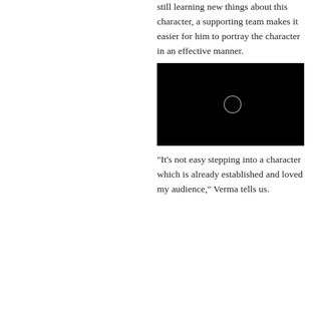still learning new things about this character, a supporting team makes it easier for him to portray the character in an effective manner.
[Figure (photo): Black video player thumbnail with a circular play button icon in the center]
"It's not easy stepping into a character which is already established and loved my audience," Verma tells us.